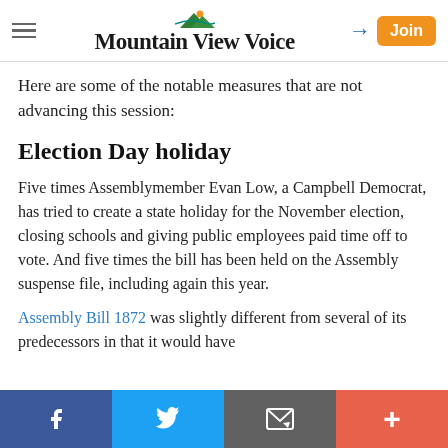Mountain View Voice
Here are some of the notable measures that are not advancing this session:
Election Day holiday
Five times Assemblymember Evan Low, a Campbell Democrat, has tried to create a state holiday for the November election, closing schools and giving public employees paid time off to vote. And five times the bill has been held on the Assembly suspense file, including again this year.
Assembly Bill 1872 was slightly different from several of its predecessors in that it would have
Facebook  Twitter  Email  +